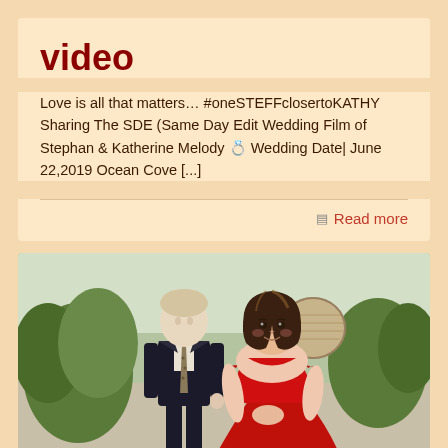video
Love is all that matters… #oneSTEFFclosertoKATHY Sharing The SDE (Same Day Edit Wedding Film of Stephan & Katherine Melody 💍 Wedding Date| June 22,2019 Ocean Cove [...]
Read more
[Figure (photo): A couple posing outdoors. A man in a dark suit with a patterned tie stands on the left. A woman in an off-shoulder red dress stands on the right, looking toward the camera. Garden setting with greenery and a decorative round vase in the background.]